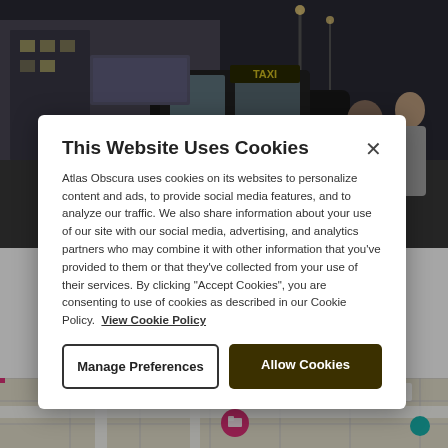[Figure (photo): Street scene with a black taxi cab, pedestrians, and city buildings in background at dusk/night]
This Website Uses Cookies
Atlas Obscura uses cookies on its websites to personalize content and ads, to provide social media features, and to analyze our traffic. We also share information about your use of our site with our social media, advertising, and analytics partners who may combine it with other information that you've provided to them or that they've collected from your use of their services. By clicking "Accept Cookies", you are consenting to use of cookies as described in our Cookie Policy. View Cookie Policy
[Figure (map): Street map showing location with pink and teal map markers, expand icon visible]